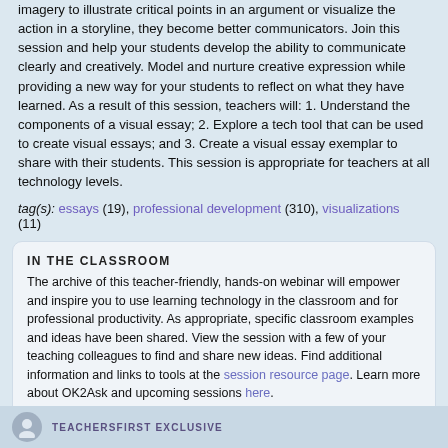imagery to illustrate critical points in an argument or visualize the action in a storyline, they become better communicators. Join this session and help your students develop the ability to communicate clearly and creatively. Model and nurture creative expression while providing a new way for your students to reflect on what they have learned. As a result of this session, teachers will: 1. Understand the components of a visual essay; 2. Explore a tech tool that can be used to create visual essays; and 3. Create a visual essay exemplar to share with their students. This session is appropriate for teachers at all technology levels.
tag(s): essays (19), professional development (310), visualizations (11)
IN THE CLASSROOM
The archive of this teacher-friendly, hands-on webinar will empower and inspire you to use learning technology in the classroom and for professional productivity. As appropriate, specific classroom examples and ideas have been shared. View the session with a few of your teaching colleagues to find and share new ideas. Find additional information and links to tools at the session resource page. Learn more about OK2Ask and upcoming sessions here.
ADD TO MY FAVORITES
TEACHERSFIRST EXCLUSIVE